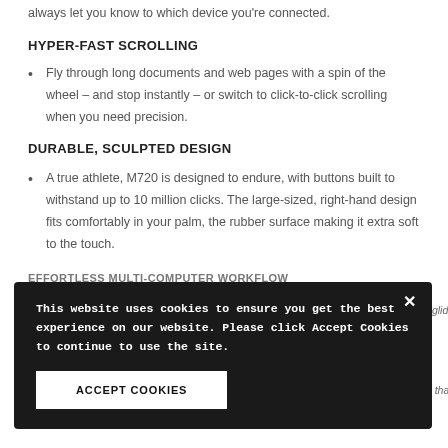always let you know to which device you're connected.
HYPER-FAST SCROLLING
Fly through long documents and web pages with a spin of the wheel – and stop instantly – or switch to click-to-click scrolling when you need precision.
DURABLE, SCULPTED DESIGN
A true athlete, M720 is designed to endure, with buttons built to withstand up to 10 million clicks. The large-sized, right-hand design fits comfortably in your palm, the rubber surface making it extra soft to the touch.
EFFORTLESS MULTI-COMPUTER WORKFLOW
This website uses cookies to ensure you get the best experience on our website. Please click Accept Cookies to continue to use the site.
ACCEPT COOKIES
PERSONALIZED PRODUCTIVITY